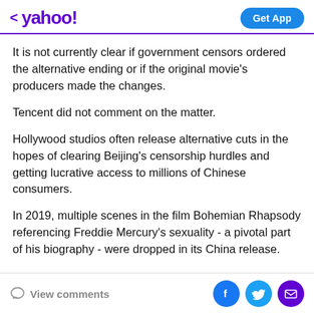< yahoo!  Get App
It is not currently clear if government censors ordered the alternative ending or if the original movie's producers made the changes.
Tencent did not comment on the matter.
Hollywood studios often release alternative cuts in the hopes of clearing Beijing's censorship hurdles and getting lucrative access to millions of Chinese consumers.
In 2019, multiple scenes in the film Bohemian Rhapsody referencing Freddie Mercury's sexuality - a pivotal part of his biography - were dropped in its China release.
View comments  [Facebook] [Twitter] [Mail]